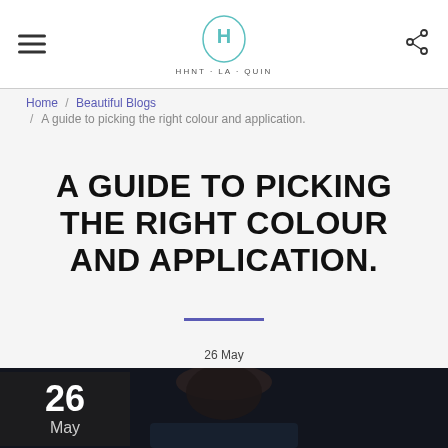HHNT-LA-QUIN (logo)
Home / Beautiful Blogs / A guide to picking the right colour and application.
A GUIDE TO PICKING THE RIGHT COLOUR AND APPLICATION.
26 May
[Figure (photo): A woman with dark hair up in a bun, wearing a plaid shirt, viewed from behind against a dark background. A date overlay in the top-left corner shows '26 May'.]